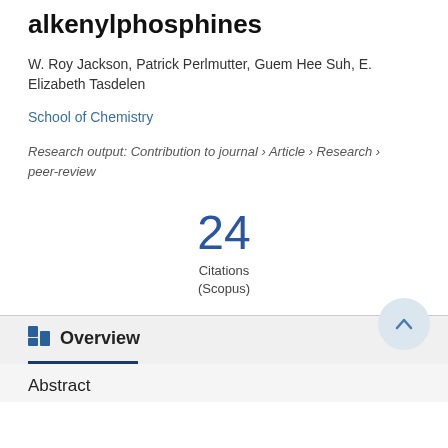alkenylphosphines
W. Roy Jackson, Patrick Perlmutter, Guem Hee Suh, E. Elizabeth Tasdelen
School of Chemistry
Research output: Contribution to journal › Article › Research › peer-review
24 Citations (Scopus)
Overview
Abstract